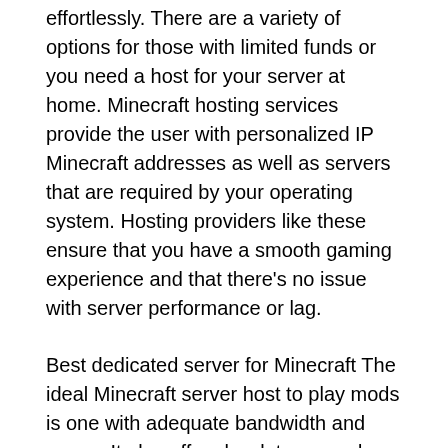effortlessly. There are a variety of options for those with limited funds or you need a host for your server at home. Minecraft hosting services provide the user with personalized IP Minecraft addresses as well as servers that are required by your operating system. Hosting providers like these ensure that you have a smooth gaming experience and that there's no issue with server performance or lag.
Best dedicated server for Minecraft The ideal Minecraft server host to play mods is one with adequate bandwidth and space. It also offers low latency and excellent uptime rates. Experience is seamless, even in busy networks. 54elry6a5a.